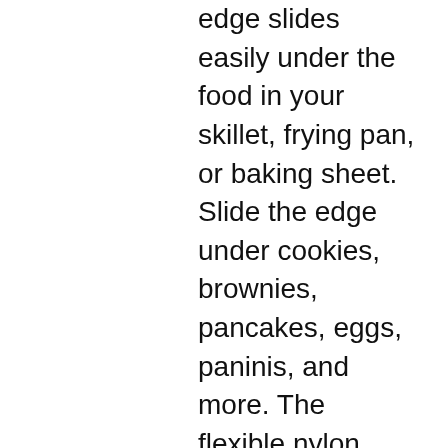edge slides easily under the food in your skillet, frying pan, or baking sheet. Slide the edge under cookies, brownies, pancakes, eggs, paninis, and more. The flexible nylon bends slightly to give you more leverage to wiggle the head between the cooking surface and the food, allowing you to cleanly flip your breakfast, lunch, dinner, or baked goods.
PREVENT SCRATCHES ON NON-STICK COOKWARE: Flexible nylon is co-molded with silicone, so it won't scratch nonstick skillets nor metal pans. Smooth, tapered edges slide under food without scratching, and the textured head provides a bit of grip for the food you're trying to take out of